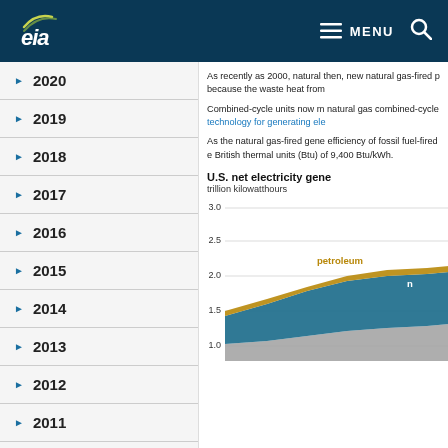EIA MENU
2020
2019
2018
2017
2016
2015
2014
2013
2012
2011
All Articles
As recently as 2000, natural then, new natural gas-fired p because the waste heat from
Combined-cycle units now m natural gas combined-cycle technology for generating ele
As the natural gas-fired gene efficiency of fossil fuel-fired e British thermal units (Btu) of 9,400 Btu/kWh.
[Figure (area-chart): Area chart showing U.S. net electricity generation with petroleum and natural gas layers, y-axis from 1.0 to 3.0 trillion kilowatthours]